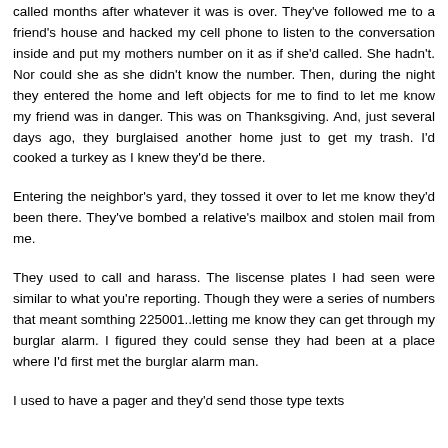called months after whatever it was is over. They've followed me to a friend's house and hacked my cell phone to listen to the conversation inside and put my mothers number on it as if she'd called. She hadn't. Nor could she as she didn't know the number. Then, during the night they entered the home and left objects for me to find to let me know my friend was in danger. This was on Thanksgiving. And, just several days ago, they burglaised another home just to get my trash. I'd cooked a turkey as I knew they'd be there.
Entering the neighbor's yard, they tossed it over to let me know they'd been there. They've bombed a relative's mailbox and stolen mail from me.
They used to call and harass. The liscense plates I had seen were similar to what you're reporting. Though they were a series of numbers that meant somthing 225001..letting me know they can get through my burglar alarm. I figured they could sense they had been at a place where I'd first met the burglar alarm man.
I used to have a pager and they'd send those type texts